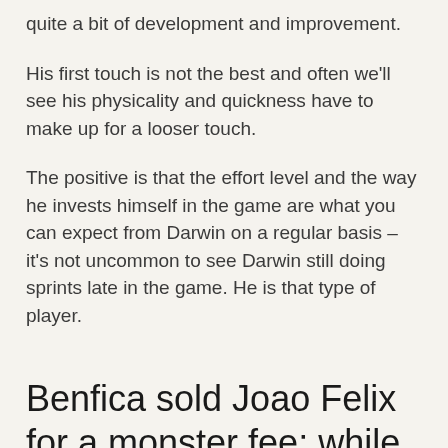quite a bit of development and improvement.
His first touch is not the best and often we'll see his physicality and quickness have to make up for a looser touch.
The positive is that the effort level and the way he invests himself in the game are what you can expect from Darwin on a regular basis – it's not uncommon to see Darwin still doing sprints late in the game. He is that type of player.
Benfica sold Joao Felix for a monster fee; while different